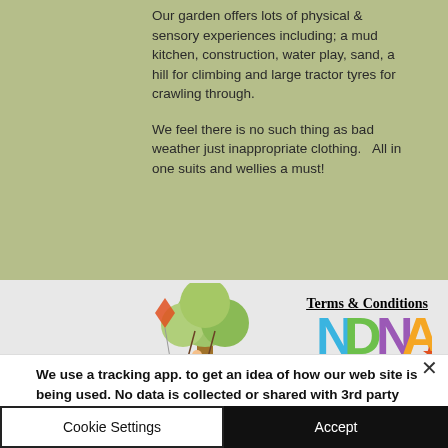Our garden offers lots of physical & sensory experiences including; a mud kitchen, construction, water play, sand, a hill for climbing and large tractor tyres for crawling through.

We feel there is no such thing as bad weather just inappropriate clothing.   All in one suits and wellies a must!
[Figure (illustration): Illustration of children playing around a large tree with a swing, and a kite flying]
Terms & Conditions
[Figure (logo): NDNA colorful logo with star]
We use a tracking app. to get an idea of how our web site is being used. No data is collected or shared with 3rd party organisations. Thank you.
Cookie Settings
Accept